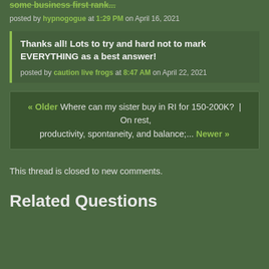some business first rank...
posted by hypnogogue at 1:29 PM on April 16, 2021
Thanks all! Lots to try and hard not to mark EVERYTHING as a best answer!
posted by caution live frogs at 8:47 AM on April 22, 2021
« Older Where can my sister buy in RI for 150-200K?  |  On rest, productivity, spontaneity, and balance;... Newer »
This thread is closed to new comments.
Related Questions